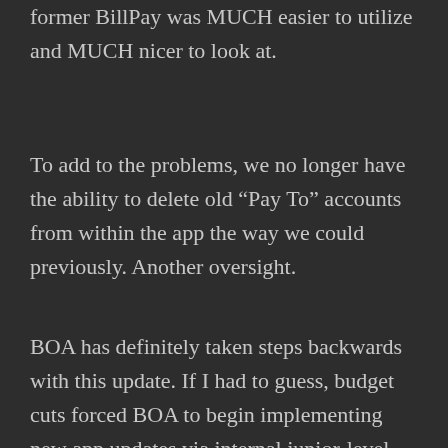former BillPay was MUCH easier to utilize and MUCH nicer to look at.
To add to the problems, we no longer have the ability to delete old “Pay To” accounts from within the app the way we could previously. Another oversight.
BOA has definitely taken steps backwards with this update. If I had to guess, budget cuts forced BOA to begin implementing new app updates via internal junior-level design team, rather than...